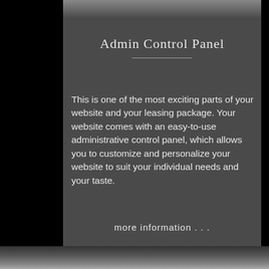Admin Control Panel
This is one of the most exciting parts of your website and your leasing package. Your website comes with an easy-to-use administrative control panel, which allows you to customize and personalize your website to suit your individual needs and your taste.
more information . . .